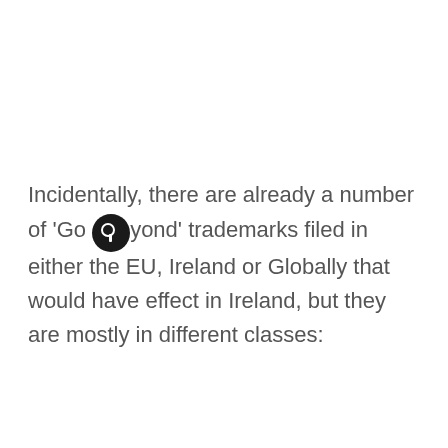Incidentally, there are already a number of 'Go Beyond' trademarks filed in either the EU, Ireland or Globally that would have effect in Ireland, but they are mostly in different classes: